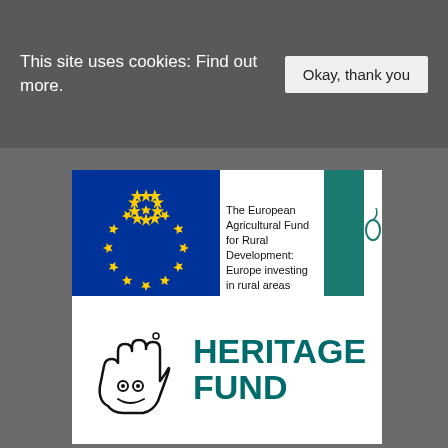This site uses cookies: Find out more.   Okay, thank you
[Figure (logo): EU flag with circle of yellow stars on blue background alongside text 'The European Agricultural Fund for Rural Development: Europe investing in rural areas' and LEADER logo on green background]
[Figure (logo): National Lottery Heritage Fund logo with crossed fingers hand illustration and 'HERITAGE FUND' text in teal]